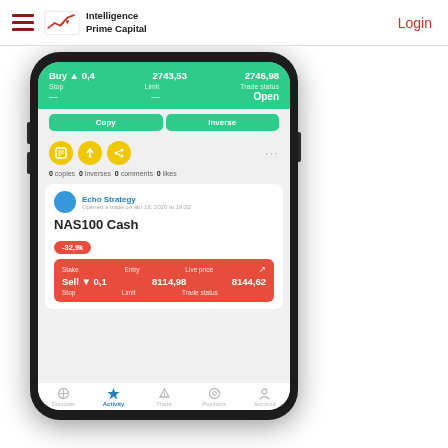Intelligence Prime Capital | Login
[Figure (screenshot): Mobile app screenshot showing trading activity feed with green and red trade cards for NAS100 Cash. Top green card shows Buy 0.4 at 2743.53 with live price 2746.98, status Open. Bottom red card shows Sell 0.1 at 8114.98 with live price 8144.62. Echo Strategy trader opened a trade on abr 13, 2020. Negative badge showing -32.9k. Yellow action icon buttons, counts row, and bottom navigation bar.]